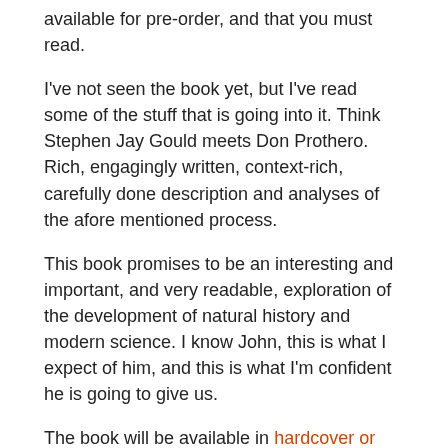available for pre-order, and that you must read.
I've not seen the book yet, but I've read some of the stuff that is going into it. Think Stephen Jay Gould meets Don Prothero. Rich, engagingly written, context-rich, carefully done description and analyses of the afore mentioned process.
This book promises to be an interesting and important, and very readable, exploration of the development of natural history and modern science. I know John, this is what I expect of him, and this is what I'm confident he is going to give us.
The book will be available in hardcover or kindle. Of course, I'll write a review as soon as I can. The book is slated for publication in June 2017.
One comment so far